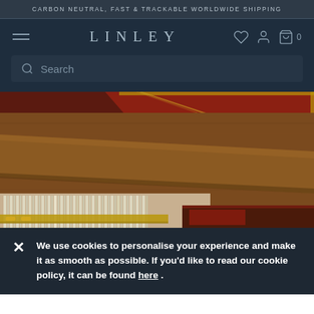CARBON NEUTRAL, FAST & TRACKABLE WORLDWIDE SHIPPING
LINLEY
[Figure (photo): Close-up photo of a luxury wooden furniture piece with walnut wood drawer pulls and red leather inlay surface with gold trim detailing, drawer partially open revealing interior compartments]
We use cookies to personalise your experience and make it as smooth as possible. If you'd like to read our cookie policy, it can be found here .